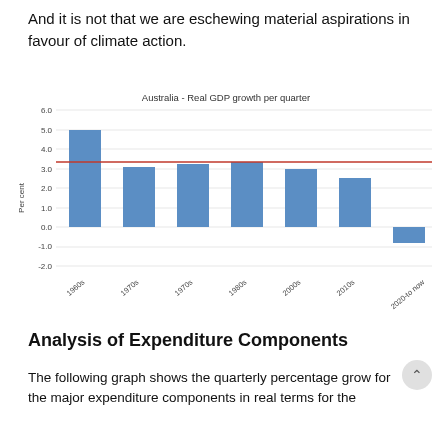And it is not that we are eschewing material aspirations in favour of climate action.
[Figure (bar-chart): Australia - Real GDP growth per quarter]
Analysis of Expenditure Components
The following graph shows the quarterly percentage grow for the major expenditure components in real terms for the